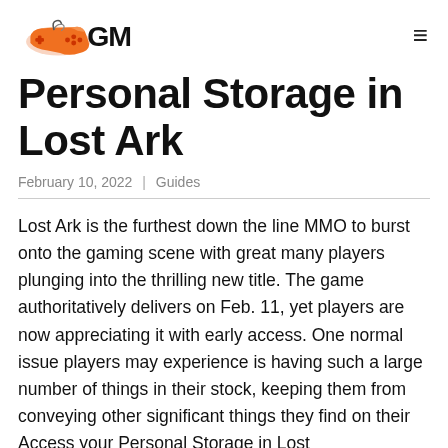GM (gaming website logo with hamburger menu)
Personal Storage in Lost Ark
February 10, 2022 | Guides
Lost Ark is the furthest down the line MMO to burst onto the gaming scene with great many players plunging into the thrilling new title. The game authoritatively delivers on Feb. 11, yet players are now appreciating it with early access. One normal issue players may experience is having such a large number of things in their stock, keeping them from conveying other significant things they find on their Access your Personal Storage in Lost